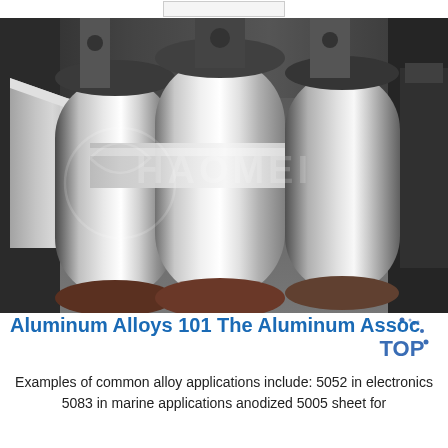[Figure (photo): Industrial aluminum sheet rolling mill machinery with large metallic cylinders and shiny aluminum sheet being processed. Watermark reads HAOMEI overlaid on the image.]
Aluminum Alloys 101 The Aluminum Association
Examples of common alloy applications include: 5052 in electronics 5083 in marine applications anodized 5005 sheet for